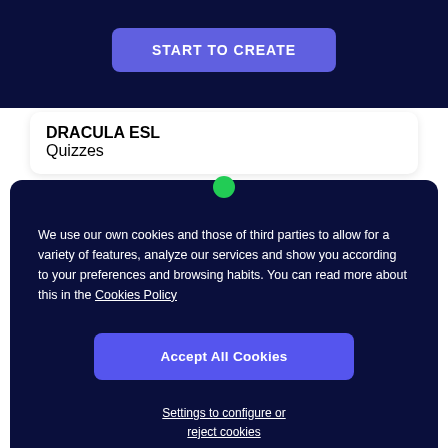START TO CREATE
DRACULA ESL
Quizzes
We use our own cookies and those of third parties to allow for a variety of features, analyze our services and show you according to your preferences and browsing habits. You can read more about this in the Cookies Policy
Accept All Cookies
Settings to configure or reject cookies